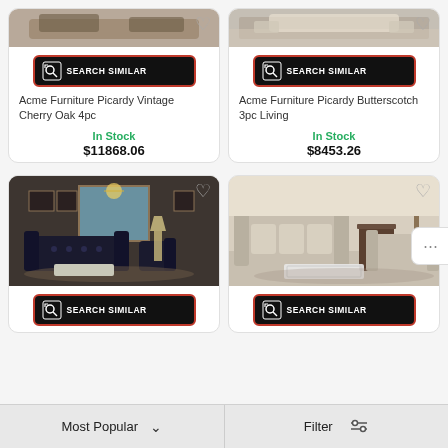[Figure (photo): Acme Furniture Picardy Vintage Cherry Oak living room set — cropped top portion showing furniture]
[Figure (photo): Acme Furniture Picardy Butterscotch living room set — cropped top portion showing furniture with rug]
Acme Furniture Picardy Vintage Cherry Oak 4pc
In Stock
$11868.06
Acme Furniture Picardy Butterscotch 3pc Living
In Stock
$8453.26
[Figure (photo): Dark ornate living room set with chandelier and tufted sofas]
[Figure (photo): Light beige/tan living room sofa set with glass coffee table]
Most Popular
Filter